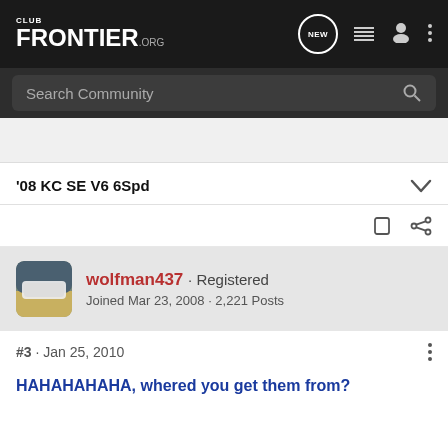CLUB FRONTIER .ORG
Search Community
'08 KC SE V6 6Spd
wolfman437 · Registered
Joined Mar 23, 2008 · 2,221 Posts
#3 · Jan 25, 2010
HAHAHAHAHA, whered you get them from?